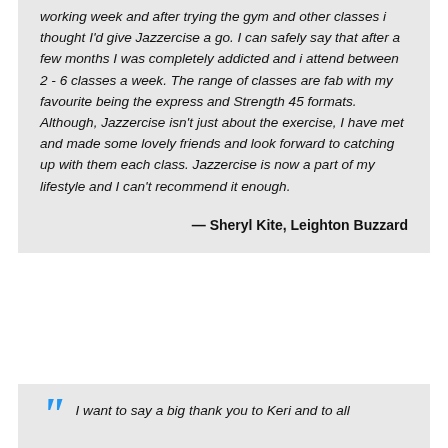working week and after trying the gym and other classes i thought I'd give Jazzercise a go. I can safely say that after a few months I was completely addicted and i attend between 2 - 6 classes a week. The range of classes are fab with my favourite being the express and Strength 45 formats. Although, Jazzercise isn't just about the exercise, I have met and made some lovely friends and look forward to catching up with them each class. Jazzercise is now a part of my lifestyle and I can't recommend it enough.
— Sheryl Kite, Leighton Buzzard
I want to say a big thank you to Keri and to all